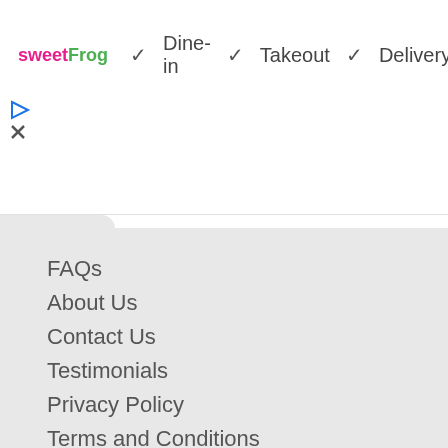[Figure (logo): sweetFrog logo with pink 'sweet' and green 'Frog' text]
✓ Dine-in  ✓ Takeout  ✓ Delivery
[Figure (other): Blue diamond navigation arrow icon]
[Figure (other): Small play and X ad icons]
FAQs
About Us
Contact Us
Testimonials
Privacy Policy
Terms and Conditions
Copyright 2003 - 2022
Conjecture Corporation